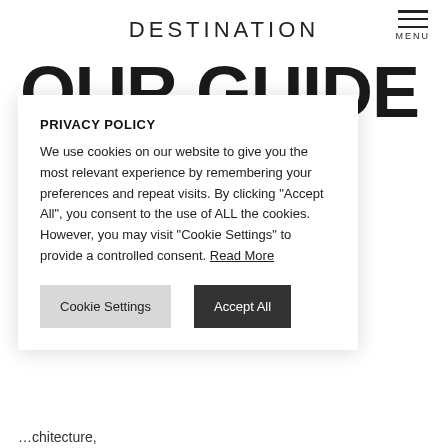DESTINATION
OUR GUIDE TO ...VDS IN ...GH
PRIVACY POLICY
We use cookies on our website to give you the most relevant experience by remembering your preferences and repeat visits. By clicking "Accept All", you consent to the use of ALL the cookies. However, you may visit "Cookie Settings" to provide a controlled consent. Read More
...chitecture, ...
Cookie Settings
Accept All